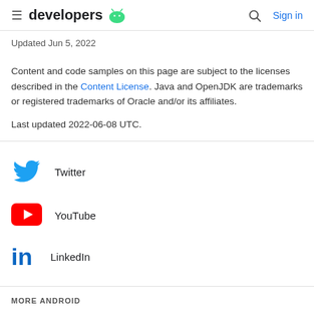developers [android logo] | [search] Sign in
Updated Jun 5, 2022
Content and code samples on this page are subject to the licenses described in the Content License. Java and OpenJDK are trademarks or registered trademarks of Oracle and/or its affiliates.
Last updated 2022-06-08 UTC.
[Figure (logo): Twitter bird logo in blue]
Twitter
[Figure (logo): YouTube play button logo in red]
YouTube
[Figure (logo): LinkedIn logo in blue]
LinkedIn
MORE ANDROID